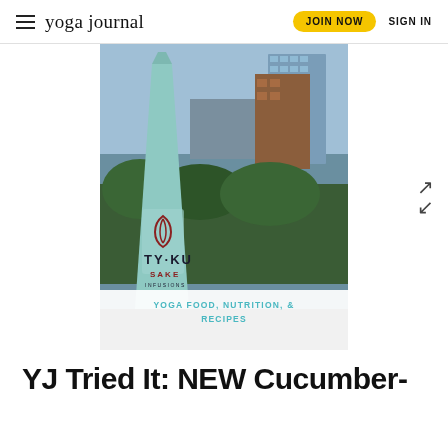yoga journal   JOIN NOW   SIGN IN
[Figure (photo): A mint/teal-colored Ty·Ku Sake Infusions bottle in the foreground against an urban outdoor backdrop with buildings and greenery visible.]
YOGA FOOD, NUTRITION, & RECIPES
YJ Tried It: NEW Cucumber-